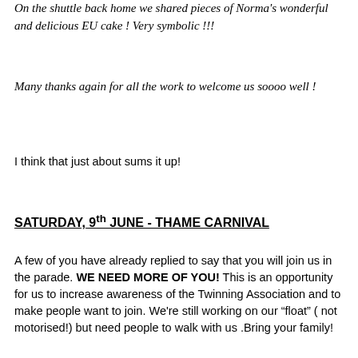On the shuttle back home we shared pieces of Norma's wonderful and delicious EU cake ! Very symbolic !!!
Many thanks again for all the work to welcome us soooo well !
I think that just about sums it up!
SATURDAY, 9th JUNE - THAME CARNIVAL
A few of you have already replied to say that you will join us in the parade. WE NEED MORE OF YOU! This is an opportunity for us to increase awareness of the Twinning Association and to make people want to join. We're still working on our “float” ( not motorised!) but need people to walk with us .Bring your family!